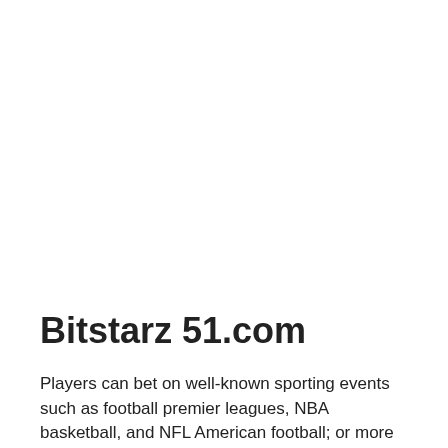Bitstarz 51.com
Players can bet on well-known sporting events such as football premier leagues, NBA basketball, and NFL American football; or more niche sports such as table tennis, winter sports, and badminton, bitstarz